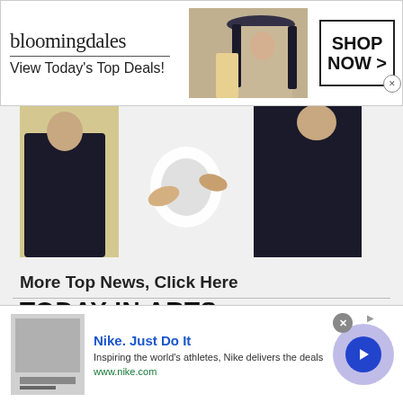[Figure (photo): Bloomingdale's advertisement banner with logo, 'View Today's Top Deals!' text, photo of woman in hat, and 'SHOP NOW >' button]
[Figure (photo): Main article photo showing people in formal wear, partially cropped]
More Top News, Click Here
TODAY IN ARTS
North Carolina Coastal Hot Spot Will Host Southern Living's Cool 2022 'Idea House'
[Figure (photo): Nike advertisement banner with thumbnail image, title 'Nike. Just Do It', description 'Inspiring the world's athletes, Nike delivers the deals', url 'www.nike.com', and blue arrow button]